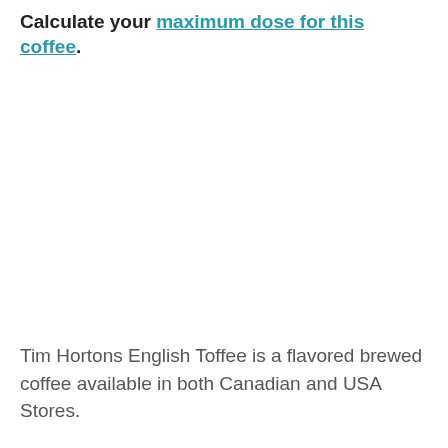Calculate your maximum dose for this coffee.
Tim Hortons English Toffee is a flavored brewed coffee available in both Canadian and USA Stores.